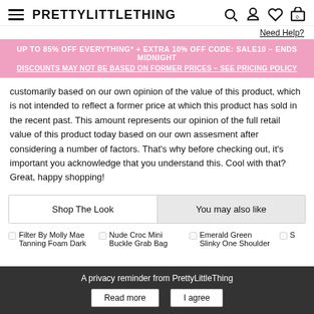≡ PRETTYLITTLETHING
Need Help?
UP TO 85% OFF EVERYTHING* + EXTRA 10% OFF CODE: SALE10 – ENDS MIDNIGHT
DISCOUNTS MAY NOT BE BASED ON FORMER PRICES – SEE PRICING POLICY
customarily based on our own opinion of the value of this product, which is not intended to reflect a former price at which this product has sold in the recent past. This amount represents our opinion of the full retail value of this product today based on our own assesment after considering a number of factors. That's why before checking out, it's important you acknowledge that you understand this. Cool with that? Great, happy shopping!
Shop The Look	You may also like
Filter By Molly Mae	Nude Croc Mini Buckle Grab Bag	Emerald Green Slinky One Shoulder
Tanning Foam Dark	Buckle Grab Bag	Slinky One Shoulder
A privacy reminder from PrettyLittleThing
Read more	I agree